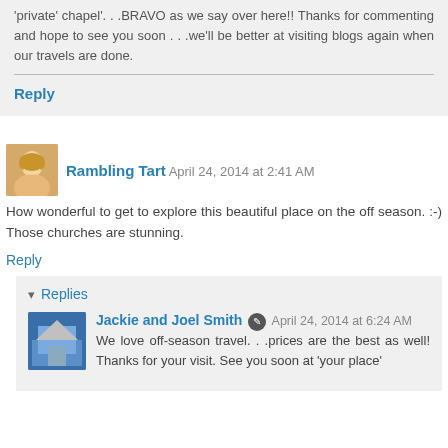'private' chapel'. . .BRAVO as we say over here!! Thanks for commenting and hope to see you soon . . .we'll be better at visiting blogs again when our travels are done.
Reply
Rambling Tart   April 24, 2014 at 2:41 AM
How wonderful to get to explore this beautiful place on the off season. :-) Those churches are stunning.
Reply
Replies
Jackie and Joel Smith   April 24, 2014 at 6:24 AM
We love off-season travel. . .prices are the best as well! Thanks for your visit. See you soon at 'your place'